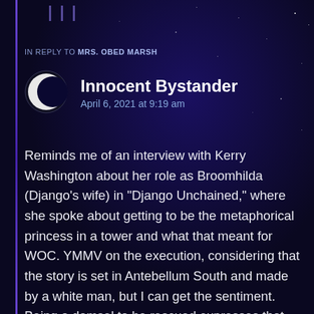IN REPLY TO MRS. OBED MARSH
Innocent Bystander
April 6, 2021 at 9:19 am
Reminds me of an interview with Kerry Washington about her role as Broomhilda (Django's wife) in "Django Unchained," where she spoke about getting to be the metaphorical princess in a tower and what that meant for WOC. YMMV on the execution, considering that the story is set in Antebellum South and made by a white man, but I can get the sentiment. Being a damsel to be rescued expresses that the person